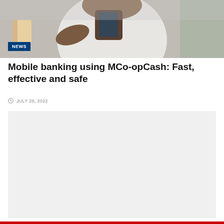[Figure (photo): Person holding a smartphone, wearing a white shirt, with shopping bags visible in the background. NEWS badge overlaid in bottom-left corner.]
Mobile banking using MCo-opCash: Fast, effective and safe
JULY 28, 2022